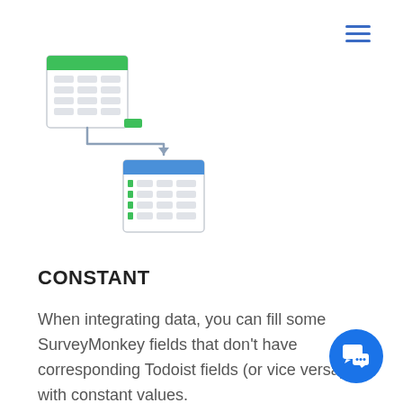[Figure (infographic): Diagram showing data integration: a source table (white with green header) connected via an L-shaped arrow with a small green connector block to a destination table (white with blue header and green row indicators), representing constant value mapping between fields.]
CONSTANT
When integrating data, you can fill some SurveyMonkey fields that don't have corresponding Todoist fields (or vice versa) with constant values.